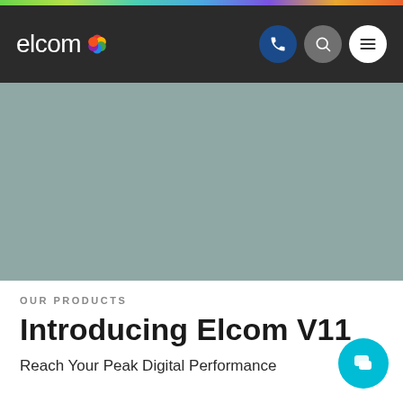[Figure (screenshot): Elcom website navigation bar with logo and icon buttons]
[Figure (photo): Hero banner area with muted blue-gray gradient background]
OUR PRODUCTS
Introducing Elcom V11
Reach Your Peak Digital Performance